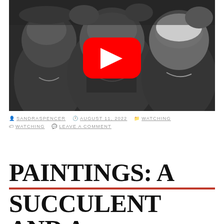[Figure (screenshot): Black and white video thumbnail showing a group of women smiling, with a YouTube play button overlay in the center.]
By SANDRASPENCER  AUGUST 11, 2022  WATCHING  WATCHING  LEAVE A COMMENT
PAINTINGS: A SUCCULENT AND A